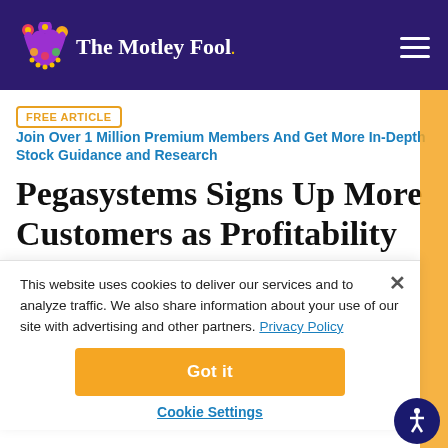The Motley Fool
FREE ARTICLE   Join Over 1 Million Premium Members And Get More In-Depth Stock Guidance and Research
Pegasystems Signs Up More Customers as Profitability Remains a Challenge
This website uses cookies to deliver our services and to analyze traffic. We also share information about your use of our site with advertising and other partners. Privacy Policy
Got it
Cookie Settings